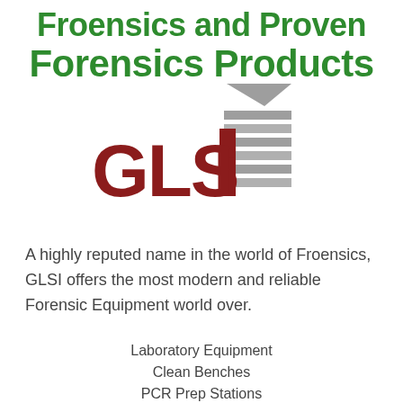Froensics and Proven Forensics Products
[Figure (logo): GLSI logo with dark red bold letters G, L, S, I and a grey geometric triangular/layered column symbol to the right]
A highly reputed name in the world of Froensics, GLSI offers the most modern and reliable Forensic Equipment world over.
Laboratory Equipment
Clean Benches
PCR Prep Stations
Workstations